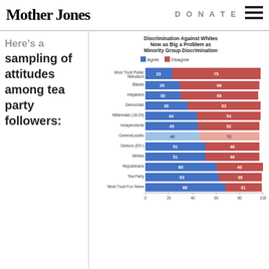Mother Jones | DONATE
Here's a sampling of attitudes among tea party followers:
[Figure (stacked-bar-chart): Discrimination Against Whites Now as Big a Problem as Minority Group Discrimination]